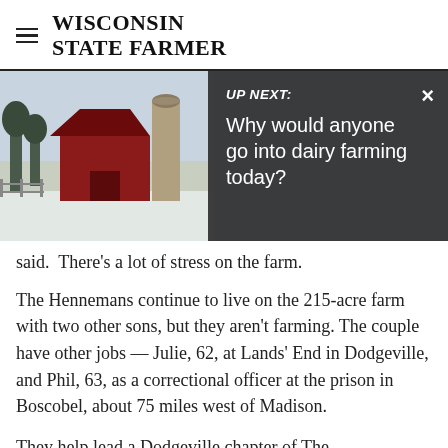WISCONSIN STATE FARMER
[Figure (photo): Farm photo with red barn and silo in winter, partially visible behind an 'UP NEXT' overlay panel. The overlay shows: UP NEXT: Why would anyone go into dairy farming today? with an X close button.]
said.  There's a lot of stress on the farm.
The Hennemans continue to live on the 215-acre farm with two other sons, but they aren't farming. The couple have other jobs — Julie, 62, at Lands' End in Dodgeville, and Phil, 63, as a correctional officer at the prison in Boscobel, about 75 miles west of Madison.
They help lead a Dodgeville chapter of The Compassionate Friends, a support group for parents who have lost children for any reason. They also provide training in QPR — or Question,